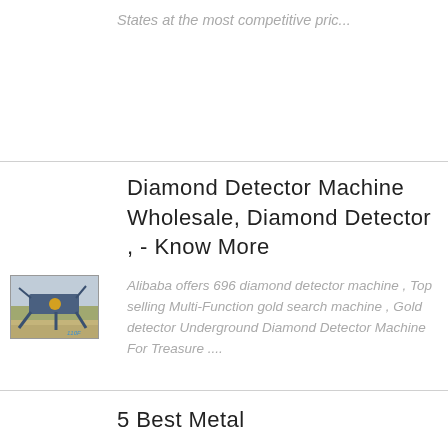States at the most competitive pric...
[Figure (photo): Mining or excavation machine outdoors in a dry landscape]
Diamond Detector Machine Wholesale, Diamond Detector , - Know More
Alibaba offers 696 diamond detector machine , Top selling Multi-Function gold search machine , Gold detector Underground Diamond Detector Machine For Treasure ....
5 Best Metal